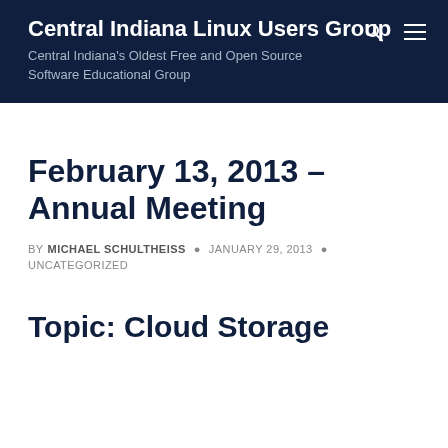Central Indiana Linux Users Group
Central Indiana's Oldest Free and Open Source Software Educational Group
February 13, 2013 – Annual Meeting
BY MICHAEL SCHULTHEISS · JANUARY 29, 2013 · UNCATEGORIZED
Topic: Cloud Storage